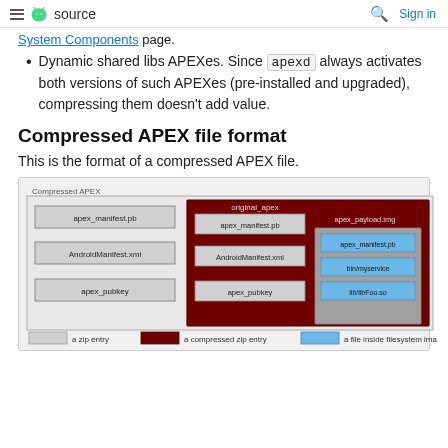≡ android source   🔍 Sign in
System Components page.
Dynamic shared libs APEXes. Since apexd always activates both versions of such APEXes (pre-installed and upgraded), compressing them doesn't add value.
Compressed APEX file format
This is the format of a compressed APEX file.
[Figure (schematic): Diagram showing the structure of a Compressed APEX file. It contains apex_manifest.pb, AndroidManifest.xml, apex_pubkey as zip entries, and an original_apex compressed zip entry containing apex_manifest.pb, AndroidManifest.xml, apex_pubkey, and a filesystem image with apex_manifest.pb, bin/myservice, lib/libFoo.so. Legend shows: gray=a zip entry, dark red=a compressed zip entry, blue=a file inside filesystem image.]